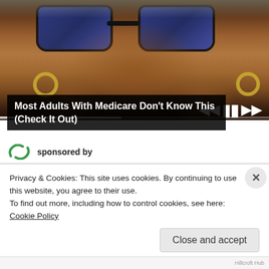[Figure (screenshot): Close-up photo of an elderly person wearing large blue reflective sunglasses and gold hoop earrings, with deeply wrinkled skin. Video player controls visible at bottom of frame.]
Most Adults With Medicare Don't Know This (Check It Out)
sponsored by
Privacy & Cookies: This site uses cookies. By continuing to use this website, you agree to their use.
To find out more, including how to control cookies, see here: Cookie Policy
Close and accept